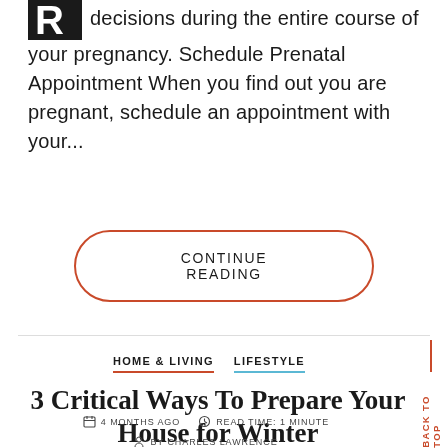decisions during the entire course of your pregnancy. Schedule Prenatal Appointment When you find out you are pregnant, schedule an appointment with your...
CONTINUE READING
HOME & LIVING   LIFESTYLE
3 Critical Ways To Prepare Your House for Winter
4 MONTHS AGO   READ TIME: 1 MINUTE
BY CHARLES LAWRENCE
BACK TO TOP